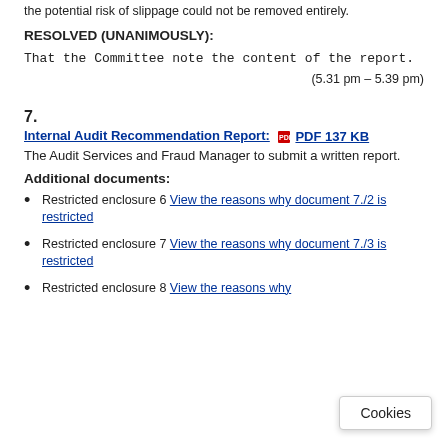the potential risk of slippage could not be removed entirely.
RESOLVED (UNANIMOUSLY):
That the Committee note the content of the report.
(5.31 pm – 5.39 pm)
7.
Internal Audit Recommendation Report:  PDF 137 KB
The Audit Services and Fraud Manager to submit a written report.
Additional documents:
Restricted enclosure 6 View the reasons why document 7./2 is restricted
Restricted enclosure 7 View the reasons why document 7./3 is restricted
Restricted enclosure 8 View the reasons why document 7./4 is restricted